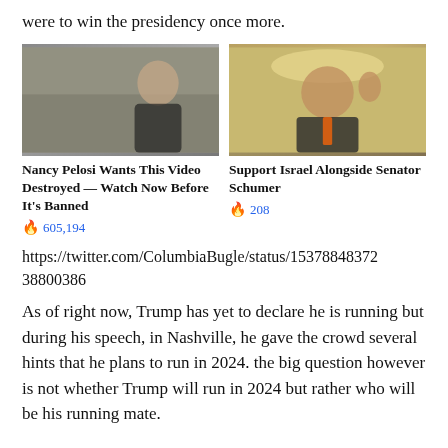were to win the presidency once more.
[Figure (photo): Photo of a woman (Kamala Harris) outdoors with a video play button overlay]
[Figure (photo): Photo of a man in suit with orange tie (Chuck Schumer) raising his hand]
Nancy Pelosi Wants This Video Destroyed — Watch Now Before It's Banned
🔥 605,194
Support Israel Alongside Senator Schumer
🔥 208
https://twitter.com/ColumbiaBugle/status/153788484837238800386
As of right now, Trump has yet to declare he is running but during his speech, in Nashville, he gave the crowd several hints that he plans to run in 2024. the big question however is not whether Trump will run in 2024 but rather who will be his running mate.